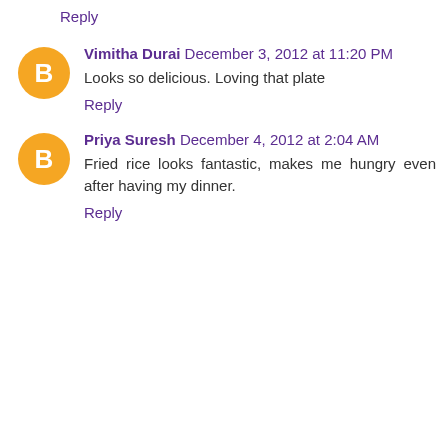Reply
Vimitha Durai  December 3, 2012 at 11:20 PM
Looks so delicious. Loving that plate
Reply
Priya Suresh  December 4, 2012 at 2:04 AM
Fried rice looks fantastic, makes me hungry even after having my dinner.
Reply